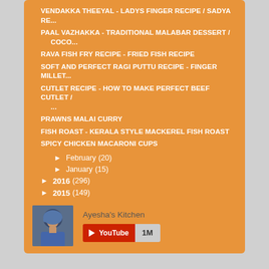VENDAKKA THEEYAL - LADYS FINGER RECIPE / SADYA RE...
PAAL VAZHAKKA - TRADITIONAL MALABAR DESSERT / COCO...
RAVA FISH FRY RECIPE - FRIED FISH RECIPE
SOFT AND PERFECT RAGI PUTTU RECIPE - FINGER MILLET...
CUTLET RECIPE - HOW TO MAKE PERFECT BEEF CUTLET / ...
PRAWNS MALAI CURRY
FISH ROAST - KERALA STYLE MACKEREL FISH ROAST
SPICY CHICKEN MACARONI CUPS
► February (20)
► January (15)
► 2016 (296)
► 2015 (149)
[Figure (photo): Profile photo of Ayesha's Kitchen - woman wearing blue hijab]
Ayesha's Kitchen
[Figure (logo): YouTube subscribe button with 1M count]